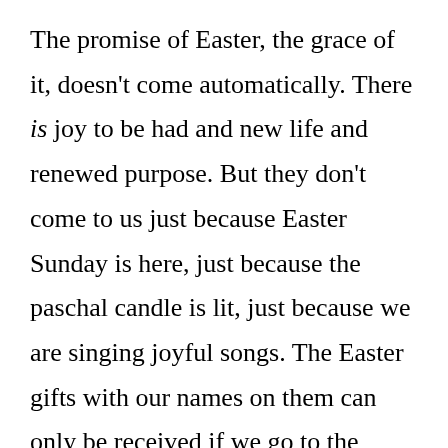The promise of Easter, the grace of it, doesn't come automatically. There is joy to be had and new life and renewed purpose. But they don't come to us just because Easter Sunday is here, just because the paschal candle is lit, just because we are singing joyful songs. The Easter gifts with our names on them can only be received if we go to the place where God is handing them out. And that's the place of our need. The place where our hope is running out and our weakness threatens to overwhelm us. Not nice places to go. We spend most of